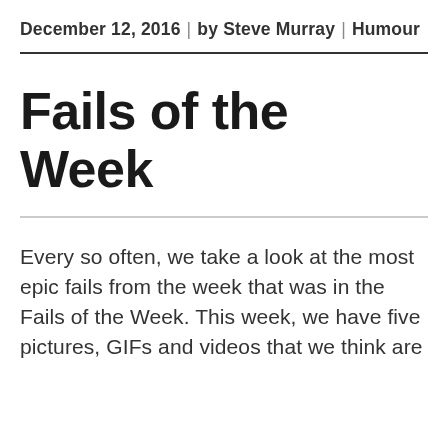December 12, 2016 | by Steve Murray | Humour
Fails of the Week
Every so often, we take a look at the most epic fails from the week that was in the Fails of the Week. This week, we have five pictures, GIFs and videos that we think are